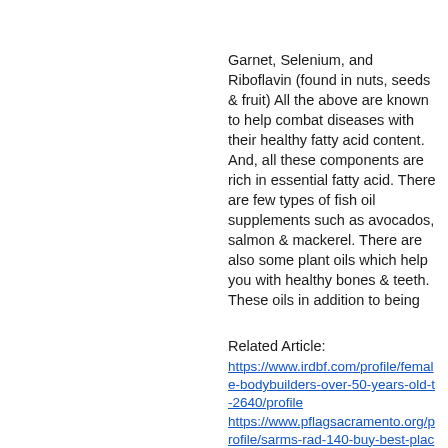Garnet, Selenium, and Riboflavin (found in nuts, seeds & fruit) All the above are known to help combat diseases with their healthy fatty acid content. And, all these components are rich in essential fatty acid. There are few types of fish oil supplements such as avocados, salmon & mackerel. There are also some plant oils which help you with healthy bones & teeth. These oils in addition to being
Related Article:
https://www.irdbf.com/profile/female-bodybuilders-over-50-years-old-t-2640/profile
https://www.pflagsacramento.org/profile/sarms-rad-140-buy-best-place-to-buy-rad-5522/profile
https://www.polygonmagazine.com/profile/anavar-sis-labs-tren-347-viena-bucurest-...